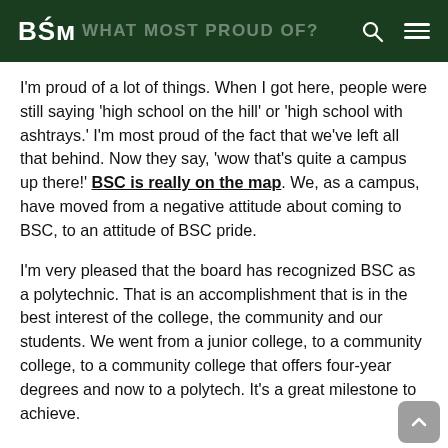BSC — WHAT MOST PROUD OF?
I'm proud of a lot of things. When I got here, people were still saying 'high school on the hill' or 'high school with ashtrays.' I'm most proud of the fact that we've left all that behind. Now they say, 'wow that's quite a campus up there!' BSC is really on the map. We, as a campus, have moved from a negative attitude about coming to BSC, to an attitude of BSC pride.
I'm very pleased that the board has recognized BSC as a polytechnic. That is an accomplishment that is in the best interest of the college, the community and our students. We went from a junior college, to a community college, to a community college that offers four-year degrees and now to a polytech. It's a great milestone to achieve.